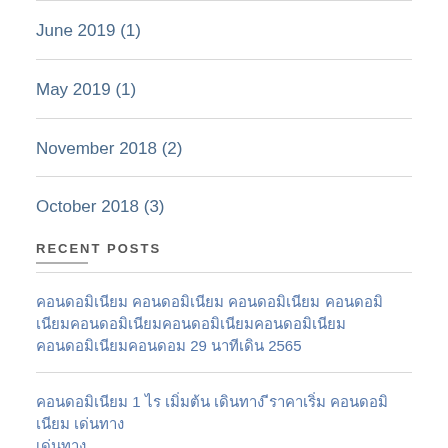June 2019 (1)
May 2019 (1)
November 2018 (2)
October 2018 (3)
RECENT POSTS
[Thai text] 29 [Thai text] 2565
[Thai text] 1 [Thai text]
Habitat Group won 'Hotel Architecture' at Asia Pacific Property Awards 2021-2022
Habitat Group won 'Special Recognition for CSR' at Property Guru Thailand Property Awards 2022